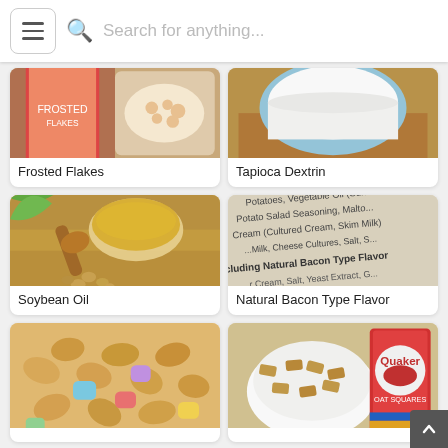[Figure (screenshot): App navigation bar with hamburger menu, search icon, and search placeholder text 'Search for anything...']
[Figure (photo): Frosted Flakes cereal product photo]
Frosted Flakes
[Figure (photo): Tapioca Dextrin - bowl of white powdery substance on wooden board]
Tapioca Dextrin
[Figure (photo): Soybean Oil - glass bowl of oil with soybeans and wooden spoon on burlap]
Soybean Oil
[Figure (photo): Natural Bacon Type Flavor - close-up of ingredient list text on food packaging]
Natural Bacon Type Flavor
[Figure (photo): Lucky Charms style cereal with colorful marshmallows]
[Figure (photo): Quaker oat cereal in bowl with box]